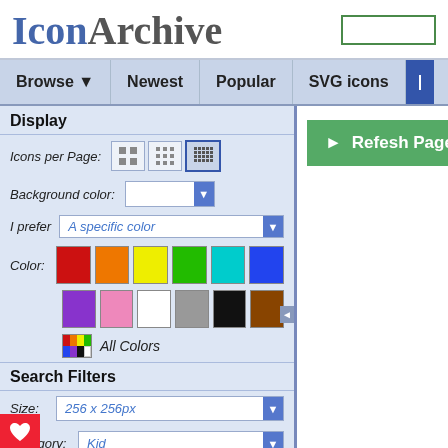IconArchive
Browse ▼   Newest   Popular   SVG icons
Display
Icons per Page:
Background color:
I prefer   A specific color
Color:
All Colors
Search Filters
Size: 256 x 256px
Category: Kid
e: Photorealistic